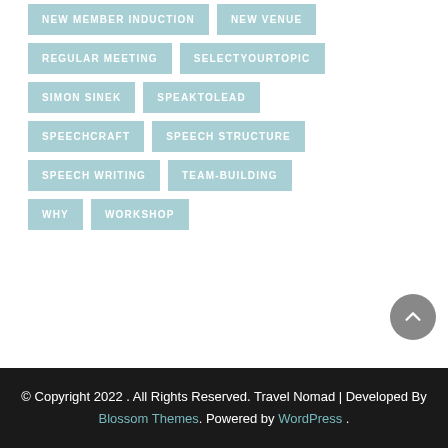NEW MEMBER INDUCTION
NEW VENUE
REGULAR MEETING
SELECTYOURTOPIC
SIMON SINEK
SPEAKTOLEAD
SPEECHCRAFT
SPEECH STRUCTURE
SPEECH WRITING
TEAM-BUILDING
WHY
WORKSHOP
© Copyright 2022 . All Rights Reserved. Travel Nomad | Developed By Blossom Themes. Powered by WordPress .